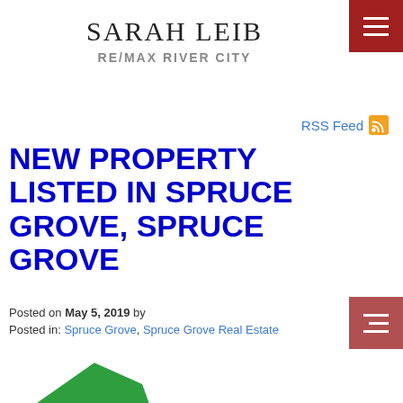SARAH LEIB
RE/MAX RIVER CITY
RSS Feed
NEW PROPERTY LISTED IN SPRUCE GROVE, SPRUCE GROVE
Posted on May 5, 2019 by
Posted in: Spruce Grove, Spruce Grove Real Estate
[Figure (photo): Property listing badge with green tag reading *FULLY RENOVATED*AIR CONDITIONER*CORNER LOT*]